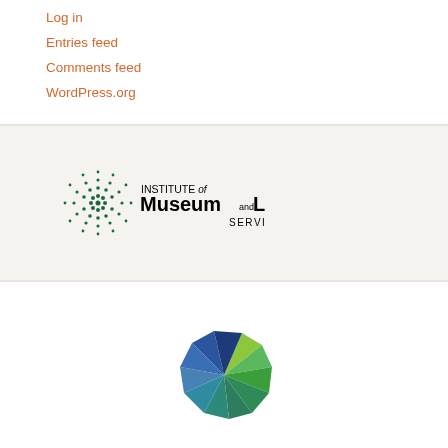Log in
Entries feed
Comments feed
WordPress.org
[Figure (logo): Institute of Museum and Library Services (IMLS) logo with dot-pattern starburst graphic]
[Figure (logo): Empire State Library Network logo with pinwheel made of green and blue triangular slices]
Empire State Library Network